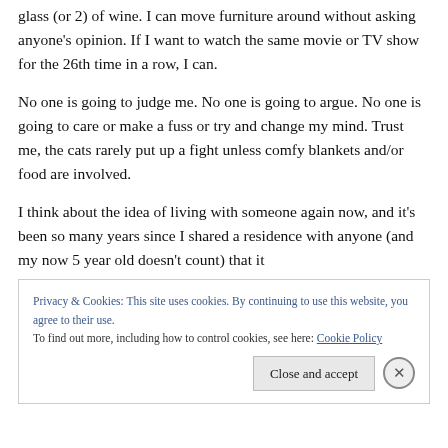glass (or 2) of wine. I can move furniture around without asking anyone's opinion. If I want to watch the same movie or TV show for the 26th time in a row, I can.
No one is going to judge me. No one is going to argue. No one is going to care or make a fuss or try and change my mind. Trust me, the cats rarely put up a fight unless comfy blankets and/or food are involved.
I think about the idea of living with someone again now, and it’s been so many years since I shared a residence with anyone (and my now 5 year old doesn’t count) that it
Privacy & Cookies: This site uses cookies. By continuing to use this website, you agree to their use.
To find out more, including how to control cookies, see here: Cookie Policy
Close and accept